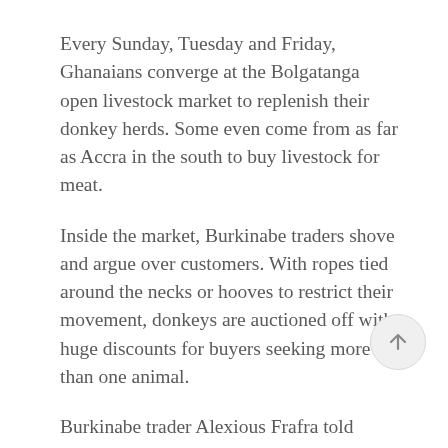Every Sunday, Tuesday and Friday, Ghanaians converge at the Bolgatanga open livestock market to replenish their donkey herds. Some even come from as far as Accra in the south to buy livestock for meat.
Inside the market, Burkinabe traders shove and argue over customers. With ropes tied around the necks or hooves to restrict their movement, donkeys are auctioned off with huge discounts for buyers seeking more than one animal.
Burkinabe trader Alexious Frafra told